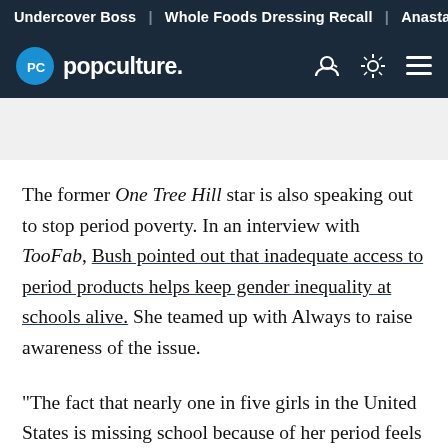Undercover Boss | Whole Foods Dressing Recall | Anastasia
popculture.
The former One Tree Hill star is also speaking out to stop period poverty. In an interview with TooFab, Bush pointed out that inadequate access to period products helps keep gender inequality at schools alive. She teamed up with Always to raise awareness of the issue.
"The fact that nearly one in five girls in the United States is missing school because of her period feels utterly